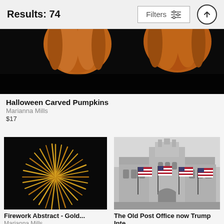Results: 74
Filters
[Figure (photo): Halloween carved pumpkins on black background, two pumpkins partially visible at top]
Halloween Carved Pumpkins
Marianna Mills
$17
[Figure (photo): Firework Abstract - Gold colored fireworks burst on dark background]
Firework Abstract - Gold...
Marianna Mills
$27
[Figure (photo): The Old Post Office now Trump International Hotel, black and white photo with American flags]
The Old Post Office now Trump Inte...
Marianna Mills
$27